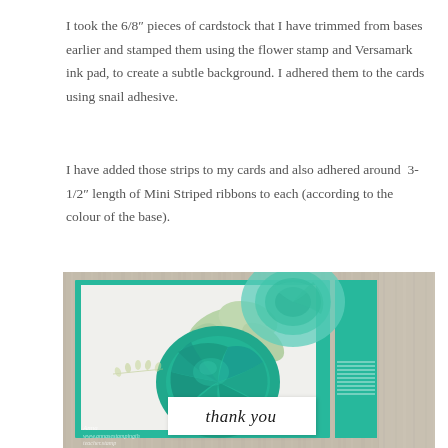I took the 6/8″ pieces of cardstock that I have trimmed from bases earlier and stamped them using the flower stamp and Versamark ink pad, to create a subtle background. I adhered them to the cards using snail adhesive.
I have added those strips to my cards and also adhered around  3-1/2″ length of Mini Striped ribbons to each (according to the colour of the base).
[Figure (photo): A handmade greeting card displayed on a wooden surface. The card features large teal/turquoise rose stamps on a white card face with a teal card base and teal strip on the right side with striped ribbon. A white tag with cursive 'thank you' text is attached at the bottom. A watermark with the creator's name and website is visible in the lower left.]